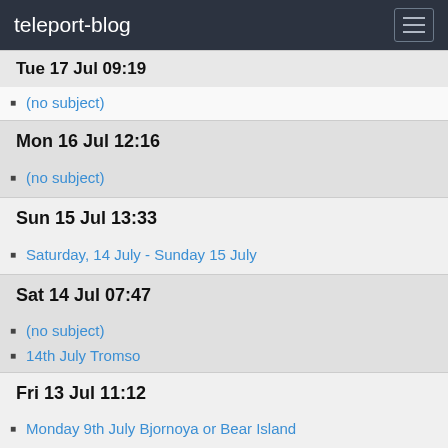teleport-blog
Tue 17 Jul 09:19
(no subject)
Mon 16 Jul 12:16
(no subject)
Sun 15 Jul 13:33
Saturday, 14 July - Sunday 15 July
Sat 14 Jul 07:47
(no subject)
14th July Tromso
Fri 13 Jul 11:12
Monday 9th July Bjornoya or Bear Island
The difference a few hours can make!
Friday July 13th Tromso Town Harbour 0800
Thu 12 Jul 13:37
Seven cross the Barents Sea
Wed 11 Jul 10:07